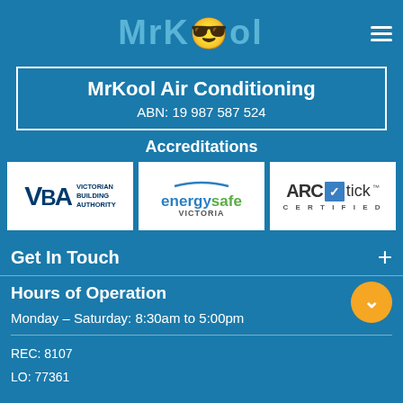MrKool
MrKool Air Conditioning
ABN: 19 987 587 524
Accreditations
[Figure (logo): Victorian Building Authority (VBA) logo, Energy Safe Victoria logo, ARC tick Certified logo]
Get In Touch
Hours of Operation
Monday – Saturday: 8:30am to 5:00pm
REC: 8107
LO: 77361